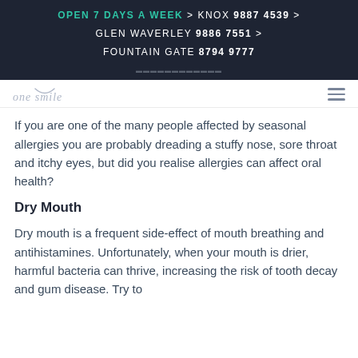OPEN 7 DAYS A WEEK > KNOX 9887 4539 > GLEN WAVERLEY 9886 7551 > FOUNTAIN GATE 8794 9777
[Figure (logo): One Smile dental clinic logo with a smile arc graphic above the text 'one smile' in light grey italic serif font]
If you are one of the many people affected by seasonal allergies you are probably dreading a stuffy nose, sore throat and itchy eyes, but did you realise allergies can affect oral health?
Dry Mouth
Dry mouth is a frequent side-effect of mouth breathing and antihistamines. Unfortunately, when your mouth is drier, harmful bacteria can thrive, increasing the risk of tooth decay and gum disease. Try to